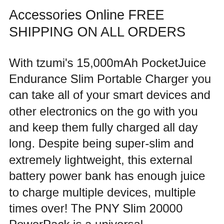Accessories Online FREE SHIPPING ON ALL ORDERS
With tzumi's 15,000mAh PocketJuice Endurance Slim Portable Charger you can take all of your smart devices and other electronics on the go with you and keep them fully charged all day long. Despite being super-slim and extremely lightweight, this external battery power bank has enough juice to charge multiple devices, multiple times over! The PNY Slim 20000 PowerPack is a universal rechargeable battery designed to provide you power wherever or whenever you need it. A fully charged 20000 PowerPack can recharge most smartphones up to twelve times. Ideal